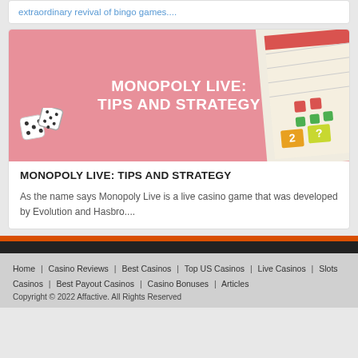extraordinary revival of bingo games....
[Figure (illustration): Pink banner image for Monopoly Live: Tips and Strategy article, showing white bold text in center, dice in bottom-left, and Monopoly board game pieces in top-right]
MONOPOLY LIVE: TIPS AND STRATEGY
As the name says Monopoly Live is a live casino game that was developed by Evolution and Hasbro....
Home | Casino Reviews | Best Casinos | Top US Casinos | Live Casinos | Slots Casinos | Best Payout Casinos | Casino Bonuses | Articles
Copyright © 2022 Affactive. All Rights Reserved